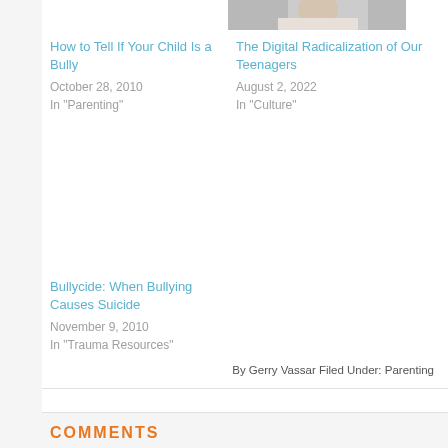[Figure (photo): Photo of a teenager at top right, partially visible at top of page]
How to Tell If Your Child Is a Bully
October 28, 2010
In "Parenting"
The Digital Radicalization of Our Teenagers
August 2, 2022
In "Culture"
Bullycide: When Bullying Causes Suicide
November 9, 2010
In "Trauma Resources"
By Gerry Vassar Filed Under: Parenting
COMMENTS